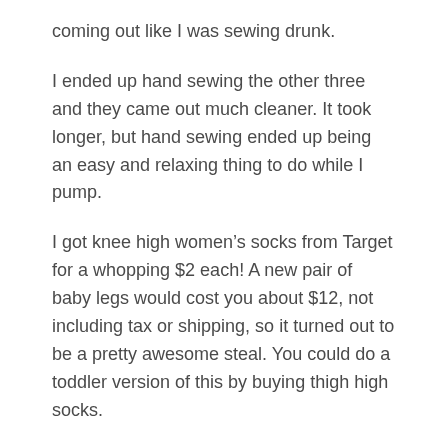coming out like I was sewing drunk.
I ended up hand sewing the other three and they came out much cleaner. It took longer, but hand sewing ended up being an easy and relaxing thing to do while I pump.
I got knee high women’s socks from Target for a whopping $2 each! A new pair of baby legs would cost you about $12, not including tax or shipping, so it turned out to be a pretty awesome steal. You could do a toddler version of this by buying thigh high socks.
Here’s the lowdown:
First cut off the foot of the socks, right where the heal ends.